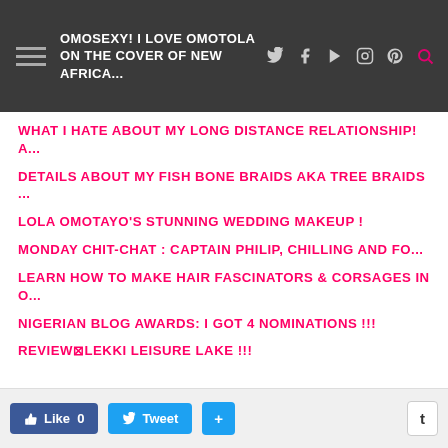OMOSEXY! I LOVE OMOTOLA ON THE COVER OF NEW AFRICA...
WHAT I HATE ABOUT MY LONG DISTANCE RELATIONSHIP! A...
DETAILS ABOUT MY FISH BONE BRAIDS aka TREE BRAIDS ...
LOLA OMOTAYO'S STUNNING WEDDING MAKEUP !
MONDAY CHIT-CHAT : CAPTAIN PHILIP, CHILLING AND FO...
LEARN HOW TO MAKE HAIR FASCINATORS & CORSAGES IN O...
NIGERIAN BLOG AWARDS: I GOT 4 NOMINATIONS !!!
REVIEW⊠LEKKI LEISURE LAKE !!!
Like 0   Tweet   +   t